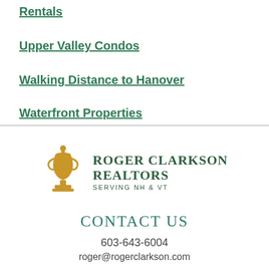Rentals
Upper Valley Condos
Walking Distance to Hanover
Waterfront Properties
[Figure (logo): Roger Clarkson Realtors logo with golden trophy/urn icon and text 'ROGER CLARKSON REALTORS SERVING NH & VT']
CONTACT US
603-643-6004
roger@rogerclarkson.com